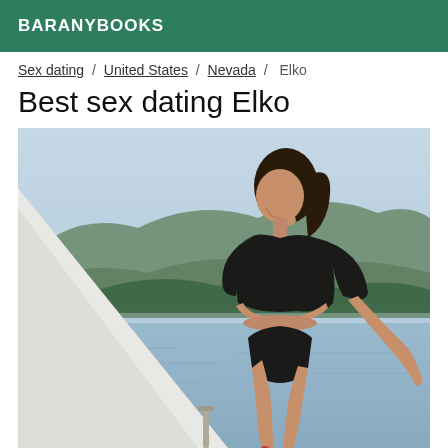BARANYBOOKS
Sex dating / United States / Nevada / Elko
Best sex dating Elko
[Figure (photo): A young woman in a black crop top and bikini bottoms posing on a boat with water and mountains in the background]